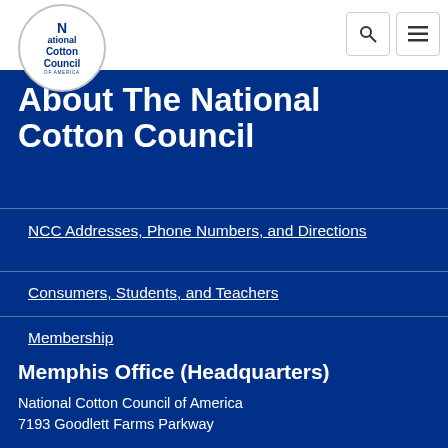National Cotton Council of America - logo and navigation
About The National Cotton Council
NCC Addresses, Phone Numbers, and Directions
Consumers, Students, and Teachers
Membership
Memphis Office (Headquarters)
National Cotton Council of America
7193 Goodlett Farms Parkway